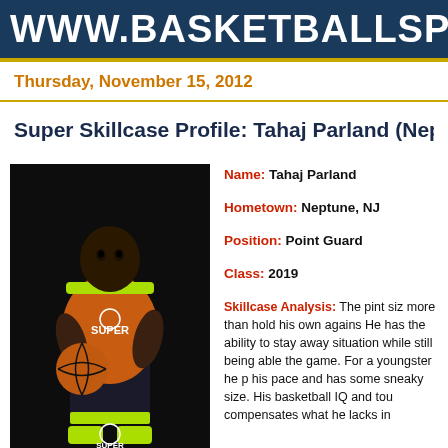WWW.BASKETBALLSPO
Thursday, November 15, 2012
Super Skillcase Profile: Tahaj Parland (Nept
[Figure (photo): Youth basketball player Tahaj Parland wearing an orange and green Super jersey, holding a basketball, standing in front of a dark background with Super logo at bottom]
Name: Tahaj Parland
Hometown: Neptune, NJ
Position: Point Guard
Class: 2019
Skillcase Analysis: The pint siz more than hold his own agains He has the ability to stay away situation while still being able the game. For a youngster he p his pace and has some sneaky size. His basketball IQ and tou compensates what he lacks in